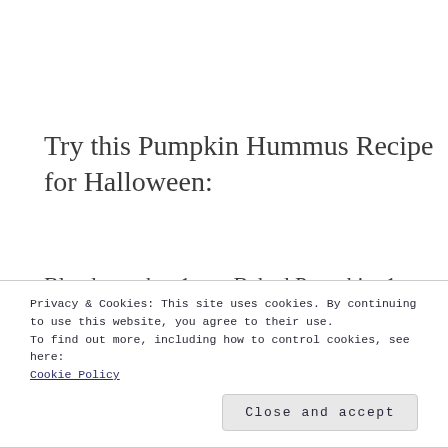Try this Pumpkin Hummus Recipe for Halloween:
Blend together 1 cup Baked Pumpkin, 1 can Chickpeas, 3 Tbsp Lemon Juice, 2 Tbsp Oil, 2 Tbsp Tahini, 4 Garlic Cloves, 2 tsp Smoked Paprika and 1
Privacy & Cookies: This site uses cookies. By continuing to use this website, you agree to their use.
To find out more, including how to control cookies, see here:
Cookie Policy
Close and accept